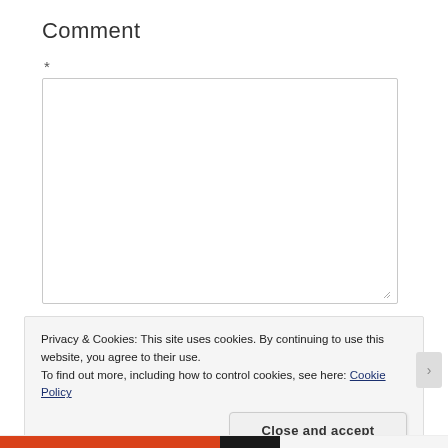Comment
*
[Figure (screenshot): Empty comment textarea input box with resize handle in bottom right corner]
Privacy & Cookies: This site uses cookies. By continuing to use this website, you agree to their use.
To find out more, including how to control cookies, see here: Cookie Policy
Close and accept